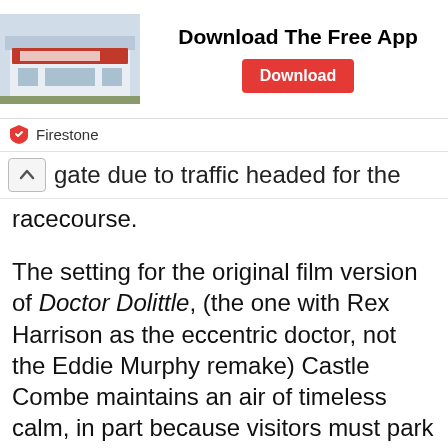[Figure (screenshot): Advertisement banner for Firestone app download. Shows a Firestone store building image on the left, bold text 'Download The Free App' in the center, and a red 'Download' button on the right.]
gate due to traffic headed for the racecourse.
The setting for the original film version of Doctor Dolittle, (the one with Rex Harrison as the eccentric doctor, not the Eddie Murphy remake) Castle Combe maintains an air of timeless calm, in part because visitors must park at the top of the hill and walk down into the centre of the village. The walk is moderately steep and long enough that you begin to wonder if there is a village at the bottom of the road at all, but in due course you arrive in Castle Combe itself.